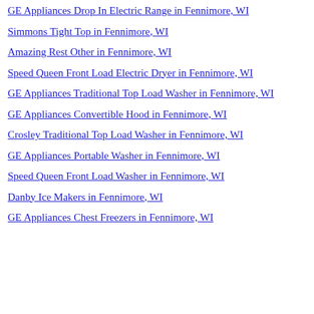GE Appliances Drop In Electric Range in Fennimore, WI
Simmons Tight Top in Fennimore, WI
Amazing Rest Other in Fennimore, WI
Speed Queen Front Load Electric Dryer in Fennimore, WI
GE Appliances Traditional Top Load Washer in Fennimore, WI
GE Appliances Convertible Hood in Fennimore, WI
Crosley Traditional Top Load Washer in Fennimore, WI
GE Appliances Portable Washer in Fennimore, WI
Speed Queen Front Load Washer in Fennimore, WI
Danby Ice Makers in Fennimore, WI
GE Appliances Chest Freezers in Fennimore, WI